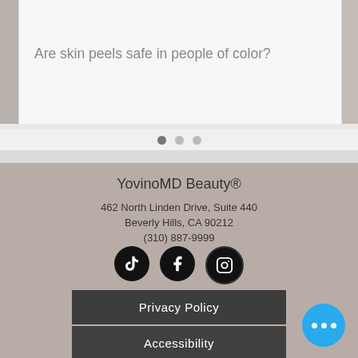[Figure (photo): Partial view of a skin/hand photo at top of card]
Are skin peels safe in people of color?
[Figure (other): Carousel dots indicator: three dots, first filled]
YovinoMD Beauty®
462 North Linden Drive, Suite 440
Beverly Hills, CA 90212
(310) 887-9999
[Figure (other): Social media icons: TikTok, Facebook, Instagram]
Privacy Policy
Accessibility
[Figure (other): Blue chat bubble with three dots]